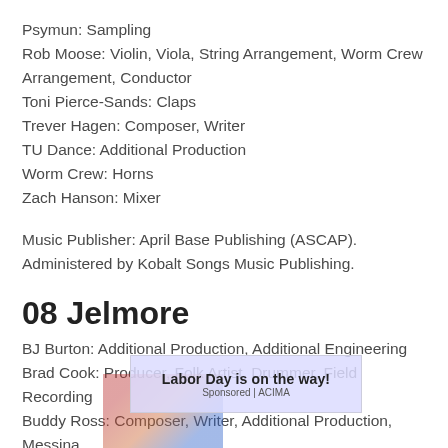Psymun: Sampling
Rob Moose: Violin, Viola, String Arrangement, Worm Crew Arrangement, Conductor
Toni Pierce-Sands: Claps
Trever Hagen: Composer, Writer
TU Dance: Additional Production
Worm Crew: Horns
Zach Hanson: Mixer
Music Publisher: April Base Publishing (ASCAP). Administered by Kobalt Songs Music Publishing.
08 Jelmore
BJ Burton: Additional Production, Additional Engineering
Brad Cook: Producer, Folk Artist, Drummer, Field Recording
Buddy Ross: Composer, Writer, Additional Production, Messina